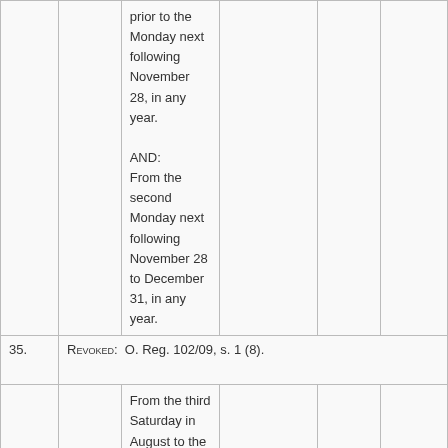|  |  | prior to the Monday next following November 28, in any year.
AND:
From the second Monday next following November 28 to December 31, in any year. |  |  |  |
| 35. | REVOKED:  O. Reg. 102/09, s. 1 (8). |  |  |  |  |
|  |  | From the third Saturday in August to the last Saturday in September, in any year.
AND:
Thereafter, |  |  |  |